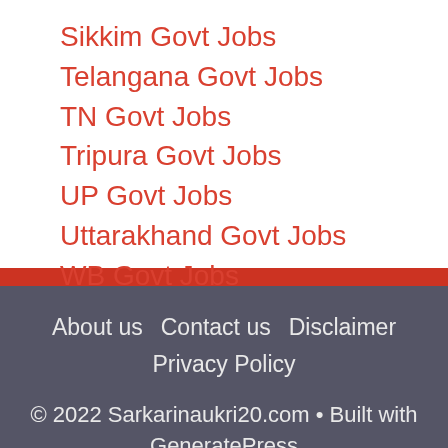Sikkim Govt Jobs
Telangana Govt Jobs
TN Govt Jobs
Tripura Govt Jobs
UP Govt Jobs
Uttarakhand Govt Jobs
WB Govt Jobs
About us   Contact us   Disclaimer   Privacy Policy   © 2022 Sarkarinaukri20.com • Built with GeneratePress